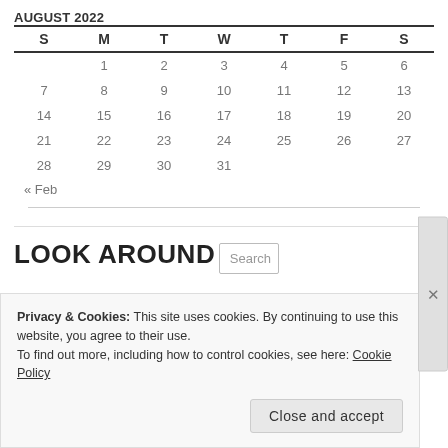AUGUST 2022
| S | M | T | W | T | F | S |
| --- | --- | --- | --- | --- | --- | --- |
|  | 1 | 2 | 3 | 4 | 5 | 6 |
| 7 | 8 | 9 | 10 | 11 | 12 | 13 |
| 14 | 15 | 16 | 17 | 18 | 19 | 20 |
| 21 | 22 | 23 | 24 | 25 | 26 | 27 |
| 28 | 29 | 30 | 31 |  |  |  |
« Feb
LOOK AROUND
Search
Privacy & Cookies: This site uses cookies. By continuing to use this website, you agree to their use.
To find out more, including how to control cookies, see here: Cookie Policy
Close and accept